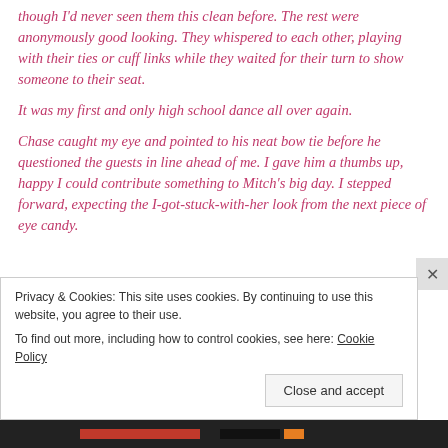though I'd never seen them this clean before. The rest were anonymously good looking. They whispered to each other, playing with their ties or cuff links while they waited for their turn to show someone to their seat.
It was my first and only high school dance all over again.
Chase caught my eye and pointed to his neat bow tie before he questioned the guests in line ahead of me. I gave him a thumbs up, happy I could contribute something to Mitch's big day. I stepped forward, expecting the I-got-stuck-with-her look from the next piece of eye candy.
Privacy & Cookies: This site uses cookies. By continuing to use this website, you agree to their use.
To find out more, including how to control cookies, see here: Cookie Policy